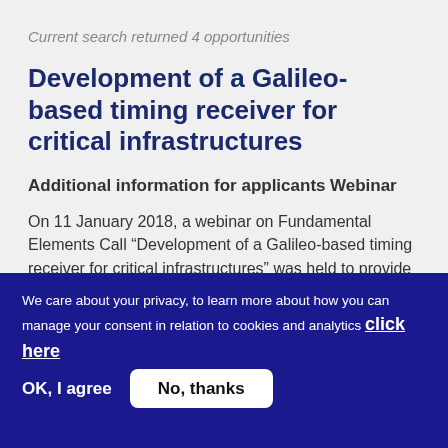Current search returned 4 opportunities
Development of a Galileo-based timing receiver for critical infrastructures
Additional information for applicants
Webinar
On 11 January 2018, a webinar on Fundamental Elements Call “Development of a Galileo-based timing receiver for critical infrastructures” was held to provide applicants with additional details on the
We care about your privacy, to learn more about how you can manage your consent in relation to cookies and analytics click here
OK, I agree
No, thanks